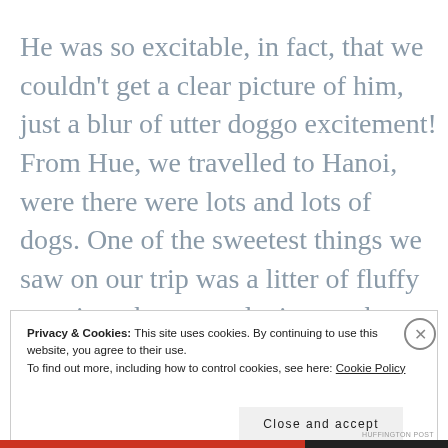He was so excitable, in fact, that we couldn't get a clear picture of him, just a blur of utter doggo excitement! From Hue, we travelled to Hanoi, were there were lots and lots of dogs. One of the sweetest things we saw on our trip was a litter of fluffy puppies who were playing on the side
Privacy & Cookies: This site uses cookies. By continuing to use this website, you agree to their use.
To find out more, including how to control cookies, see here: Cookie Policy
Close and accept